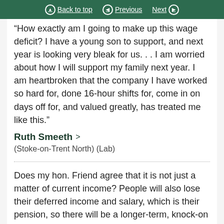Back to top | Previous | Next
“How exactly am I going to make up this wage deficit? I have a young son to support, and next year is looking very bleak for us. . . I am worried about how I will support my family next year. I am heartbroken that the company I have worked so hard for, done 16-hour shifts for, come in on days off for, and valued greatly, has treated me like this.”
Ruth Smeeth > (Stoke-on-Trent North) (Lab)
Does my hon. Friend agree that it is not just a matter of current income? People will also lose their deferred income and salary, which is their pension, so there will be a longer-term, knock-on effect when they retire.